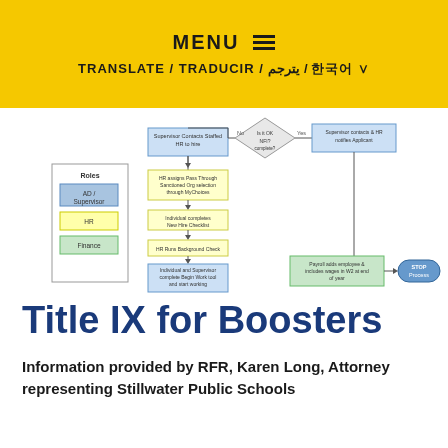MENU
TRANSLATE / TRADUCIR / يترجم / 한국어
[Figure (flowchart): HR onboarding process flowchart showing steps including supervisor completing new hire paperwork, HR assigns pass-through sanctioned org selection through MyChoices, individual completes new hire checklist, HR runs background check, individual and supervisor complete begin work tool and start working. Diamond decision node leading to yes/no paths including notify applicant and payroll adds employee and includes wages in W2 at end of year, then STOP Process.]
Title IX for Boosters
Information provided by RFR, Karen Long, Attorney representing Stillwater Public Schools